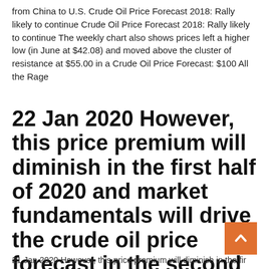from China to U.S. Crude Oil Price Forecast 2018: Rally likely to continue Crude Oil Price Forecast 2018: Rally likely to continue The weekly chart also shows prices left a higher low (in June at $42.08) and moved above the cluster of resistance at $55.00 in a Crude Oil Price Forecast: $100 All the Rage
22 Jan 2020 However, this price premium will diminish in the first half of 2020 and market fundamentals will drive the crude oil price forecast in the second
21 Jan 2020 However, this price premium will diminish in the first...